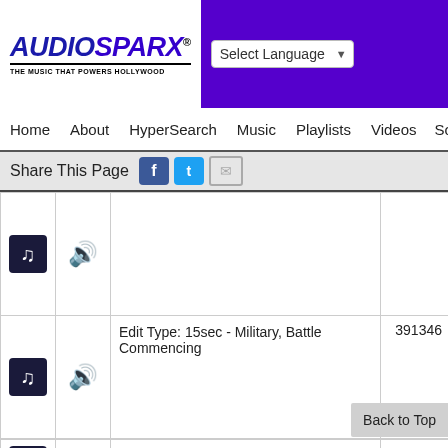AudioSparx - The Music That Powers Hollywood
Select Language
Home  About  HyperSearch  Music  Playlists  Videos  Sound
Share This Page
| Icon | Volume | Description | ID |
| --- | --- | --- | --- |
| [music icon] | [vol icon] |  |  |
| [music icon] | [vol icon] | Edit Type: 15sec - Military, Battle Commencing | 391346 |
| [music icon] | [vol icon] | Edit Type: Stinger - Military, Battle Action Orchestral | 391347 |